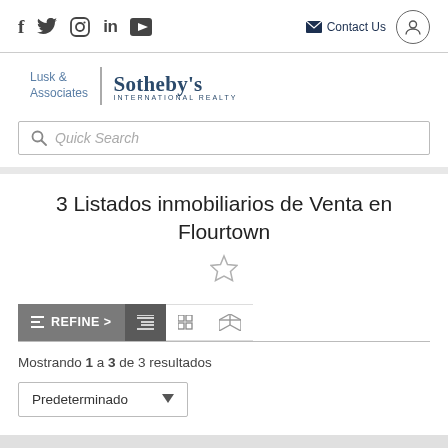Social icons: f, Twitter, Instagram, in, YouTube | Contact Us | User icon
[Figure (logo): Lusk & Associates | Sotheby's International Realty logo]
Quick Search
3 Listados inmobiliarios de Venta en Flourtown
Mostrando 1 a 3 de 3 resultados
Predeterminado